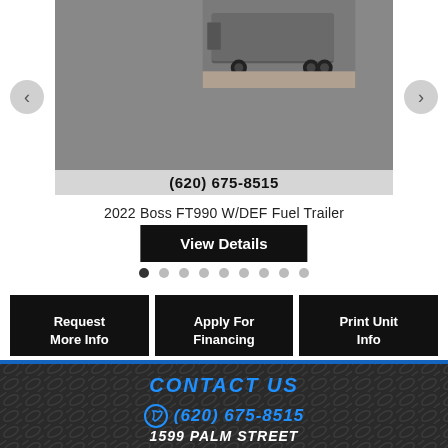[Figure (photo): Photo of a 2022 Boss FT990 W/DEF Fuel Trailer, gray enclosed trailer with dual axle on gravel surface. Phone number (620) 675-8515 shown as overlay at the bottom of the image.]
2022 Boss FT990 W/DEF Fuel Trailer
View Details
Request More Info
Apply For Financing
Print Unit Info
CONTACT US
(620) 675-8515
1599 PALM STREET